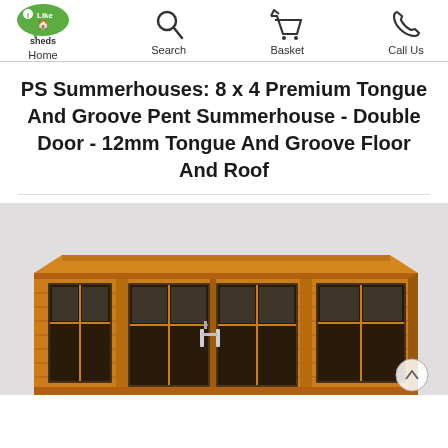Home | Search | Basket | Call Us
PS Summerhouses: 8 x 4 Premium Tongue And Groove Pent Summerhouse - Double Door - 12mm Tongue And Groove Floor And Roof
[Figure (photo): Photograph of a wooden pent summerhouse with double doors and multiple glazed panels, honey-toned timber, on a light grey background.]